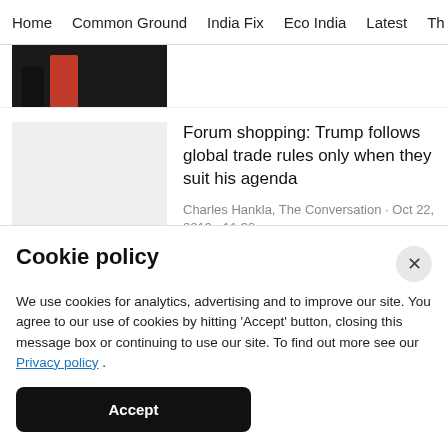Home  Common Ground  India Fix  Eco India  Latest  Th
[Figure (photo): Partial photo of a person wearing a dark outfit with a red element, cropped at the top of the page.]
[Figure (photo): Light grey placeholder thumbnail for article image.]
Forum shopping: Trump follows global trade rules only when they suit his agenda
Charles Hankla, The Conversation · Oct 22, 2019 · 11:30 pm
Cookie policy
We use cookies for analytics, advertising and to improve our site. You agree to our use of cookies by hitting 'Accept' button, closing this message box or continuing to use our site. To find out more see our Privacy policy .
Accept